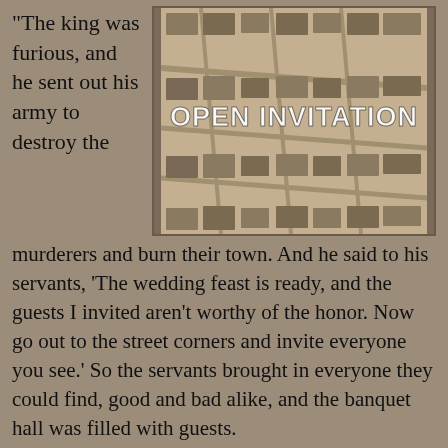“The king was furious, and he sent out his army to destroy the murderers and burn their town. And he said to his servants, ‘The wedding feast is ready, and the guests I invited aren’t worthy of the honor. Now go out to the street corners and invite everyone you see.’ So the servants brought in everyone they could find, good and bad alike, and the banquet hall was filled with guests.
[Figure (photo): Aerial photograph of a suburban neighborhood with rows of houses, overlaid with large white bold text reading OPEN INVITATION]
“But when the king came in to meet the guests, he noticed a man who wasn’t wearing the proper clothes for a wedding. ‘Friend,’ he asked, ‘how is